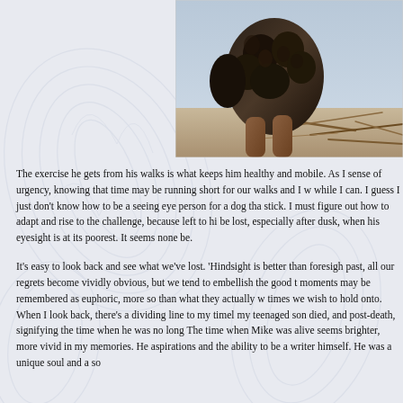[Figure (photo): A dog photographed from behind/side, with dark curly fur, outdoors in a natural setting with sticks and debris on the ground. The photo is partially cropped, showing the upper portion of the page.]
The exercise he gets from his walks is what keeps him healthy and mobile. As I sense of urgency, knowing that time may be running short for our walks and I w while I can. I guess I just don't know how to be a seeing eye person for a dog tha stick. I must figure out how to adapt and rise to the challenge, because left to hi be lost, especially after dusk, when his eyesight is at its poorest. It seems none be.
It's easy to look back and see what we've lost. 'Hindsight is better than foresigh past, all our regrets become vividly obvious, but we tend to embellish the good t moments may be remembered as euphoric, more so than what they actually w times we wish to hold onto. When I look back, there's a dividing line to my timel my teenaged son died, and post-death, signifying the time when he was no long The time when Mike was alive seems brighter, more vivid in my memories. He aspirations and the ability to be a writer himself. He was a unique soul and a so